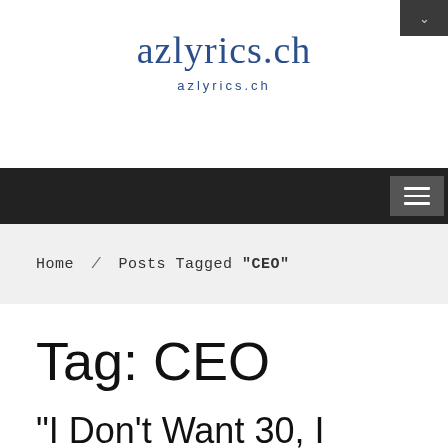[Figure (screenshot): Dark top-right corner widget with a downward chevron arrow icon]
azlyrics.ch
azlyrics.ch
[Figure (screenshot): Dark navigation bar with hamburger menu button on the right]
Home / Posts Tagged "CEO"
Tag: CEO
"I Don't Want 30, I